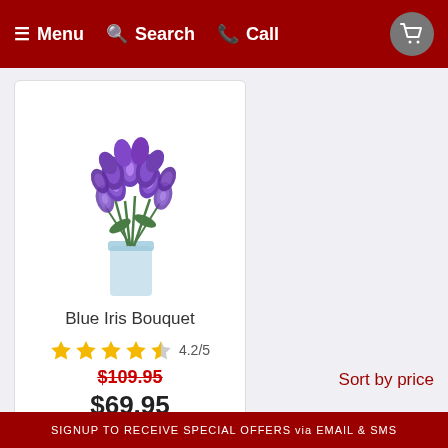Menu  Search  Call
[Figure (illustration): Purple/blue iris bouquet in a clear glass vase on a white background]
Blue Iris Bouquet
4.2/5
$109.95
$69.95
ADD TO CART
Sort by price
SIGNUP TO RECEIVE SPECIAL OFFERS via EMAIL & SMS